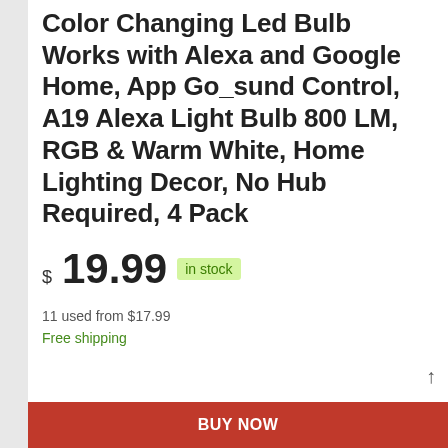Color Changing Led Bulb Works with Alexa and Google Home, App Go_sund Control, A19 Alexa Light Bulb 800 LM, RGB & Warm White, Home Lighting Decor, No Hub Required, 4 Pack
$19.99 in stock
11 used from $17.99
Free shipping